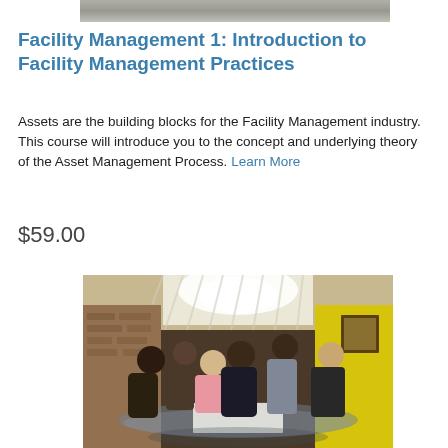[Figure (photo): Top partial image of people or a scene, cropped at the top of the page]
Facility Management 1: Introduction to Facility Management Practices
Assets are the building blocks for the Facility Management industry. This course will introduce you to the concept and underlying theory of the Asset Management Process. Learn More
$59.00
[Figure (photo): Group of five people gathered around a glass table reviewing documents in a loft-style room with brick walls and yellow accents]